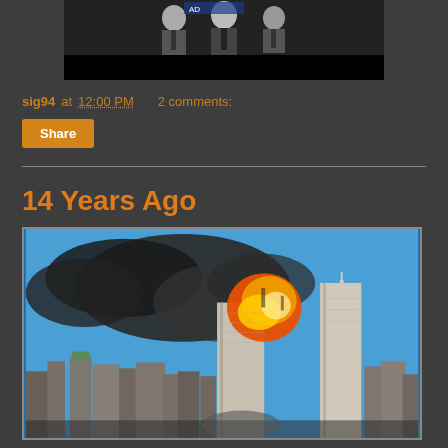[Figure (photo): Black and white photo of men in suits, partially cropped at top]
sig94 at 12:00 PM    2 comments:
Share
14 Years Ago
[Figure (photo): Color photograph of the September 11, 2001 attack on the World Trade Center Twin Towers, showing a massive fireball and black smoke against a blue sky, with the New York City skyline visible below]